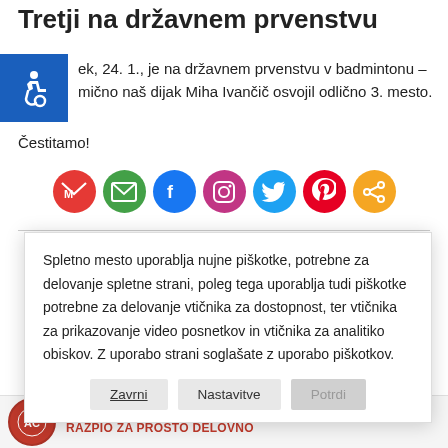Tretji na državnem prvenstvu
ek, 24. 1., je na državnem prvenstvu v badmintonu – mično naš dijak Miha Ivančič osvojil odlično 3. mesto. Čestitamo!
[Figure (infographic): Row of social media sharing icons: Gmail (red M), Email (green envelope), Facebook (blue), Instagram (gradient), Twitter (blue bird), Pinterest (red P), Share (orange)]
Spletno mesto uporablja nujne piškotke, potrebne za delovanje spletne strani, poleg tega uporablja tudi piškotke potrebne za delovanje vtičnika za dostopnost, ter vtičnika za prikazovanje video posnetkov in vtičnika za analitiko obiskov. Z uporabo strani soglašate z uporabo piškotkov.
Zavrni    Nastavitve    Potrdi
17. avgusta 2022
RAZPIO ZA PROSTO DELOVNO